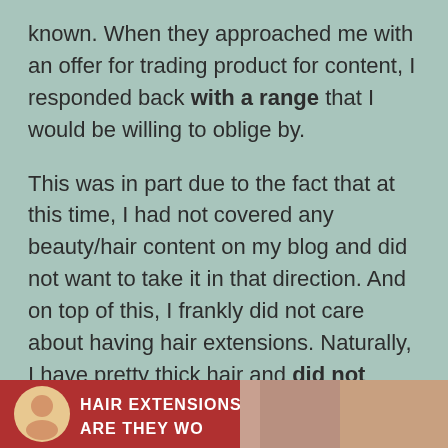known. When they approached me with an offer for trading product for content, I responded back with a range that I would be willing to oblige by.

This was in part due to the fact that at this time, I had not covered any beauty/hair content on my blog and did not want to take it in that direction. And on top of this, I frankly did not care about having hair extensions. Naturally, I have pretty thick hair and did not need the product that they were offering me.
[Figure (photo): A banner/thumbnail image with a dark red background showing text 'HAIR EXTENSIONS ARE THEY WO...' with a circular avatar photo on the left and hair photos on the right.]